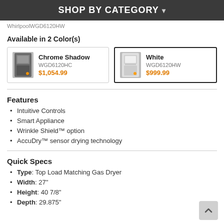SHOP BY CATEGORY ▾
WhirlpoolWGD6120HW
Available in 2 Color(s)
| Chrome Shadow | WGD6120HC | $1,054.99 |
| White | WGD6120HW | $999.99 |
Features
Intuitive Controls
Smart Appliance
Wrinkle Shield™ option
AccuDry™ sensor drying technology
Quick Specs
Type: Top Load Matching Gas Dryer
Width: 27"
Height: 40 7/8"
Depth: 29.875"